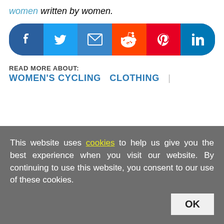women written by women.
[Figure (infographic): Social sharing bar with icons for Facebook, Twitter, Email, Reddit, Pinterest, LinkedIn]
READ MORE ABOUT:
WOMEN'S CYCLING  CLOTHING  |
This website uses cookies to help us give you the best experience when you visit our website. By continuing to use this website, you consent to our use of these cookies.